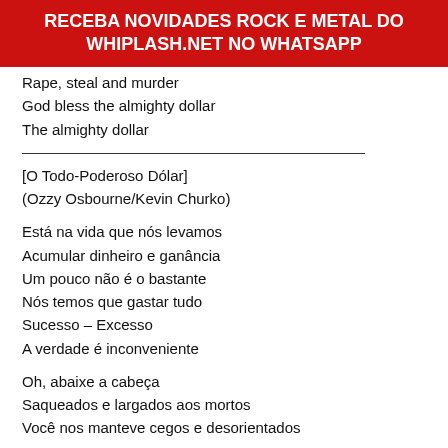RECEBA NOVIDADES ROCK E METAL DO WHIPLASH.NET NO WHATSAPP
Rape, steal and murder
God bless the almighty dollar
The almighty dollar
[O Todo-Poderoso Dólar]
(Ozzy Osbourne/Kevin Churko)
Está na vida que nós levamos
Acumular dinheiro e ganância
Um pouco não é o bastante
Nós temos que gastar tudo
Sucesso – Excesso
A verdade é inconveniente
Oh, abaixe a cabeça
Saqueados e largados aos mortos
Você nos manteve cegos e desorientados